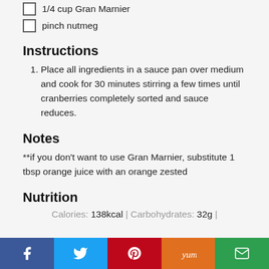1/4 cup Gran Marnier
pinch nutmeg
Instructions
1. Place all ingredients in a sauce pan over medium and cook for 30 minutes stirring a few times until cranberries completely sorted and sauce reduces.
Notes
**if you don't want to use Gran Marnier, substitute 1 tbsp orange juice with an orange zested
Nutrition
Calories: 138kcal | Carbohydrates: 32g |